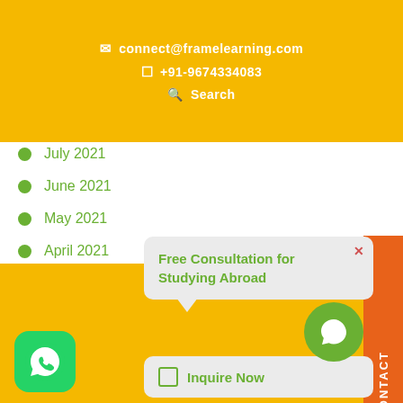connect@framelearning.com | +91-9674334083 | Search
July 2021
June 2021
May 2021
April 2021
March 2021
February 2021
January 2021
December 2020
November 2020
October 2020
Free Consultation for Studying Abroad
Inquire Now